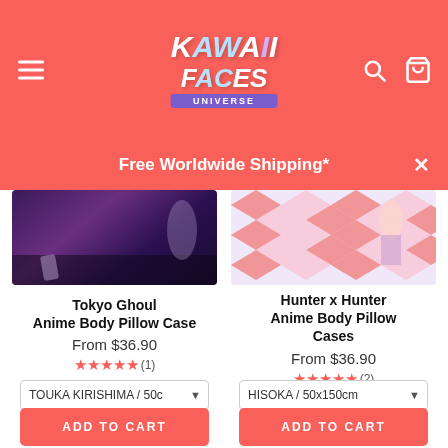[Figure (screenshot): Website header with Kawaii Faces Universe logo on coral/salmon background with hamburger menu icon, search icon, and cart icon]
Free Worldwide Shipping*
[Figure (photo): Tokyo Ghoul anime body pillow case product image showing purple/dark anime character]
[Figure (photo): Hunter x Hunter anime body pillow case product image showing colorful diamond pattern with anime characters]
Tokyo Ghoul Anime Body Pillow Case
Hunter x Hunter Anime Body Pillow Cases
From $36.90
From $36.90
★★★★★ (1)
★★★★★ (2)
TOUKA KIRISHIMA / 50c▼
HISOKA / 50x150cm ▼
ADD TO CART
ADD TO CART
ADD TO CART